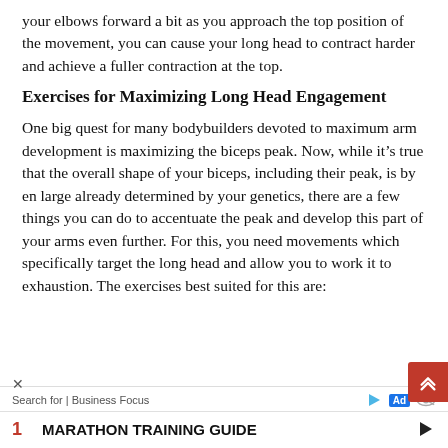your elbows forward a bit as you approach the top position of the movement, you can cause your long head to contract harder and achieve a fuller contraction at the top.
Exercises for Maximizing Long Head Engagement
One big quest for many bodybuilders devoted to maximum arm development is maximizing the biceps peak. Now, while it’s true that the overall shape of your biceps, including their peak, is by en large already determined by your genetics, there are a few things you can do to accentuate the peak and develop this part of your arms even further. For this, you need movements which specifically target the long head and allow you to work it to exhaustion. The exercises best suited for this are:
[Figure (infographic): Advertisement banner: Search for Business Focus ad with play button, Ad badge, eye icon, close X button, red scroll-up button, and a listing showing '1 MARATHON TRAINING GUIDE' with a right arrow.]